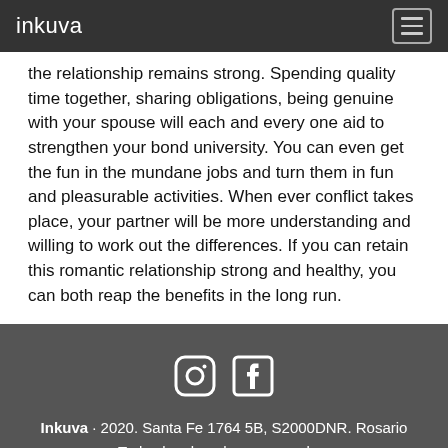inkuva
the relationship remains strong. Spending quality time together, sharing obligations, being genuine with your spouse will each and every one aid to strengthen your bond university. You can even get the fun in the mundane jobs and turn them in fun and pleasurable activities. When ever conflict takes place, your partner will be more understanding and willing to work out the differences. If you can retain this romantic relationship strong and healthy, you can both reap the benefits in the long run.
Inkuva · 2020. Santa Fe 1764 5B, S2000DNR. Rosario Todos los derechos reservados.